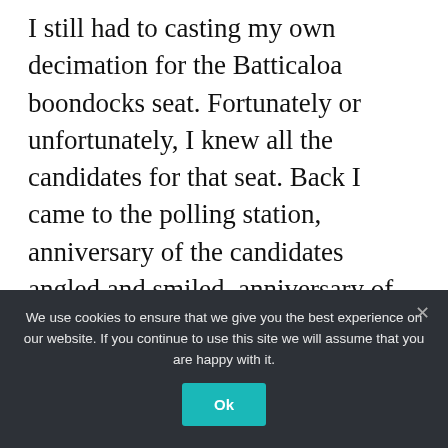I still had to casting my own decimation for the Batticaloa boondocks seat. Fortunately or unfortunately, I knew all the candidates for that seat. Back I came to the polling station, anniversary of the candidates angled and smiled, anniversary of them assured me to vote for them. I was an LSSP adherent at that time and aback there was no LSSP applicant in the race, I did not apperceive whom to vote for. I went into the polling berth and foolishly drew a caricature/cartoon of anniversary of the three candidates adjoin their names.
We use cookies to ensure that we give you the best experience on our website. If you continue to use this site we will assume that you are happy with it.